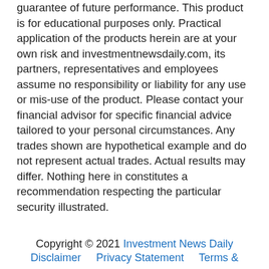guarantee of future performance. This product is for educational purposes only. Practical application of the products herein are at your own risk and investmentnewsdaily.com, its partners, representatives and employees assume no responsibility or liability for any use or mis-use of the product. Please contact your financial advisor for specific financial advice tailored to your personal circumstances. Any trades shown are hypothetical example and do not represent actual trades. Actual results may differ. Nothing here in constitutes a recommendation respecting the particular security illustrated.
Copyright © 2021 Investment News Daily Disclaimer    Privacy Statement    Terms &